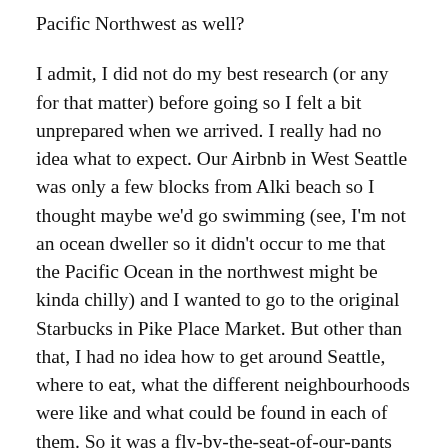Pacific Northwest as well?
I admit, I did not do my best research (or any for that matter) before going so I felt a bit unprepared when we arrived. I really had no idea what to expect. Our Airbnb in West Seattle was only a few blocks from Alki beach so I thought maybe we'd go swimming (see, I'm not an ocean dweller so it didn't occur to me that the Pacific Ocean in the northwest might be kinda chilly) and I wanted to go to the original Starbucks in Pike Place Market. But other than that, I had no idea how to get around Seattle, where to eat, what the different neighbourhoods were like and what could be found in each of them. So it was a fly-by-the-seat-of-our-pants kind of adventure.
Technically, we spent four days in Seattle – 3 days before the cruise and 1 day after – but because of